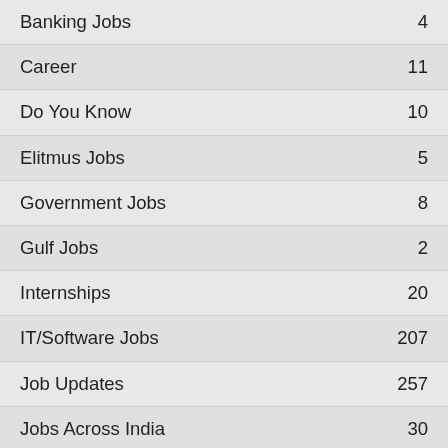| Category | Count |
| --- | --- |
| Banking Jobs | 4 |
| Career | 11 |
| Do You Know | 10 |
| Elitmus Jobs | 5 |
| Government Jobs | 8 |
| Gulf Jobs | 2 |
| Internships | 20 |
| IT/Software Jobs | 207 |
| Job Updates | 257 |
| Jobs Across India | 30 |
| Jobs in AndhraPradesh | 7 |
| Jobs in Bangalore | 109 |
| Jobs in Chennai | 56 |
| Jobs in Delhi | 13 |
| Jobs in Gurgaon | 19 |